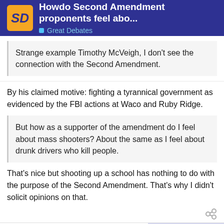Howdo Second Amendment proponents feel abo... | Great Debates
Strange example Timothy McVeigh, I don't see the connection with the Second Amendment.
By his claimed motive: fighting a tyrannical government as evidenced by the FBI actions at Waco and Ruby Ridge.
But how as a supporter of the amendment do I feel about mass shooters? About the same as I feel about drunk drivers who kill people.
That's nice but shooting up a school has nothing to do with the purpose of the Second Amendment. That's why I didn't solicit opinions on that.
madsircool
BANNED
22 / 58